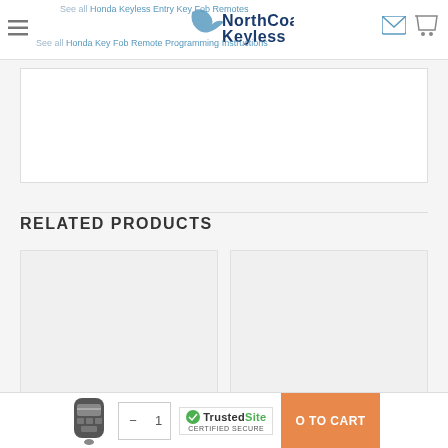NorthCoast Keyless - See all Honda Keyless Entry Key Fob Remotes - See all Honda Key Fob Remote Programming Instructions
[Figure (screenshot): Empty white content box with light border]
RELATED PRODUCTS
[Figure (photo): Two product placeholder cards (light gray) side by side in grid]
[Figure (photo): Bottom bar with key fob image, quantity selector, Add to Cart button, and TrustedSite Certified Secure badge]